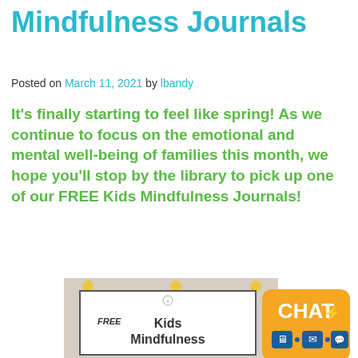Mindfulness Journals
Posted on March 11, 2021 by lbandy
It's finally starting to feel like spring! As we continue to focus on the emotional and mental well-being of families this month, we hope you'll stop by the library to pick up one of our FREE Kids Mindfulness Journals!
[Figure (photo): A sign reading FREE Kids Mindfulness Journals on a bulletin board, with a CHAT chat widget overlay in the bottom right corner.]